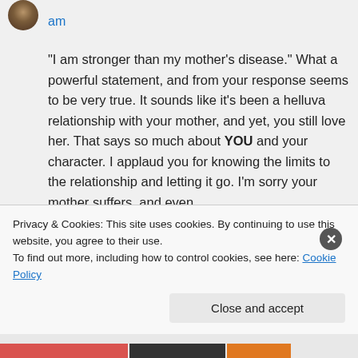am
“I am stronger than my mother’s disease.” What a powerful statement, and from your response seems to be very true. It sounds like it’s been a helluva relationship with your mother, and yet, you still love her. That says so much about YOU and your character. I applaud you for knowing the limits to the relationship and letting it go. I’m sorry your mother suffers, and even
Privacy & Cookies: This site uses cookies. By continuing to use this website, you agree to their use.
To find out more, including how to control cookies, see here: Cookie Policy
Close and accept